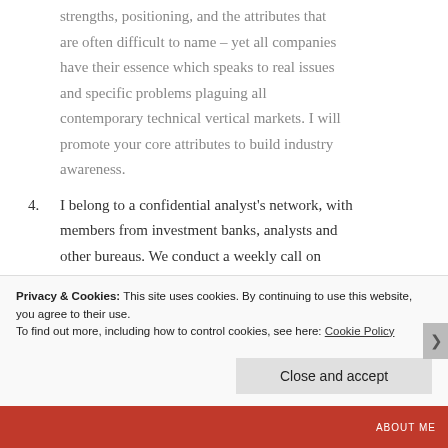strengths, positioning, and the attributes that are often difficult to name – yet all companies have their essence which speaks to real issues and specific problems plaguing all contemporary technical vertical markets. I will promote your core attributes to build industry awareness.
4. I belong to a confidential analyst's network, with members from investment banks, analysts and other bureaus. We conduct a weekly call on topics relating to Enterprise computing, of
Privacy & Cookies: This site uses cookies. By continuing to use this website, you agree to their use. To find out more, including how to control cookies, see here: Cookie Policy
Close and accept